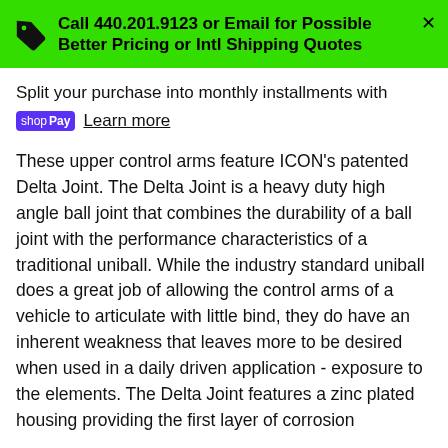Call 440.201.9123 or Email for Possible Better Pricing or Intl Shipping Quotes
Split your purchase into monthly installments with shop Pay Learn more
These upper control arms feature ICON's patented Delta Joint. The Delta Joint is a heavy duty high angle ball joint that combines the durability of a ball joint with the performance characteristics of a traditional uniball. While the industry standard uniball does a great job of allowing the control arms of a vehicle to articulate with little bind, they do have an inherent weakness that leaves more to be desired when used in a daily driven application - exposure to the elements. The Delta Joint features a zinc plated housing providing the first layer of corrosion